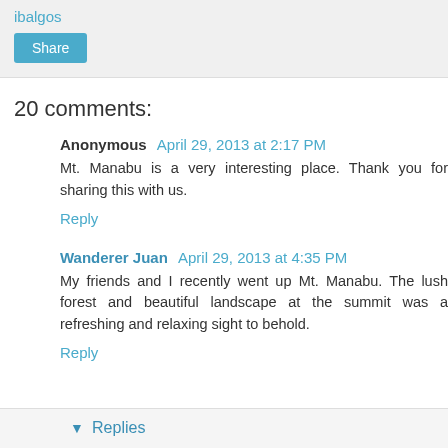ibalgos
Share
20 comments:
Anonymous  April 29, 2013 at 2:17 PM
Mt. Manabu is a very interesting place. Thank you for sharing this with us.
Reply
Wanderer Juan  April 29, 2013 at 4:35 PM
My friends and I recently went up Mt. Manabu. The lush forest and beautiful landscape at the summit was a refreshing and relaxing sight to behold.
Reply
Replies